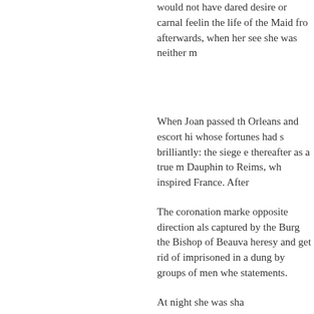would not have dared desire or carnal feeling the life of the Maid from afterwards, when her see she was neither m
When Joan passed th Orleans and escort hi whose fortunes had s brilliantly: the siege e thereafter as a true m Dauphin to Reims, wh inspired France. After
The coronation marke opposite direction als captured by the Burg the Bishop of Beauva heresy and get rid of imprisoned in a dung by groups of men whe statements.
At night she was sha